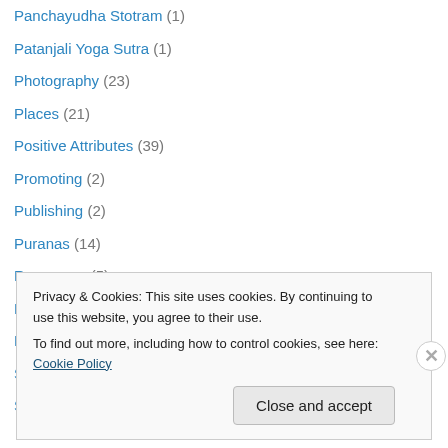Panchayudha Stotram (1)
Patanjali Yoga Sutra (1)
Photography (23)
Places (21)
Positive Attributes (39)
Promoting (2)
Publishing (2)
Puranas (14)
Ramayana (5)
Religion (50)
Renunciation (57)
Shiva Mahimna Stotra (1)
Skanda Guru Kavacham (1)
Privacy & Cookies: This site uses cookies. By continuing to use this website, you agree to their use. To find out more, including how to control cookies, see here: Cookie Policy